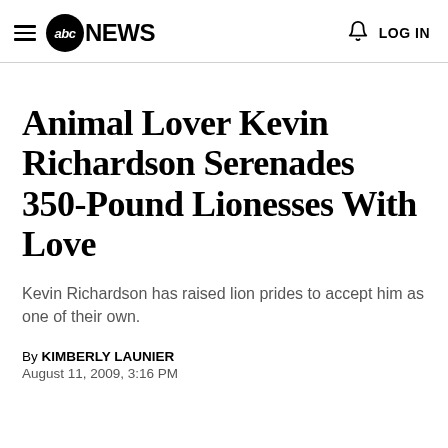abc NEWS  LOG IN
Animal Lover Kevin Richardson Serenades 350-Pound Lionesses With Love
Kevin Richardson has raised lion prides to accept him as one of their own.
By KIMBERLY LAUNIER
August 11, 2009, 3:16 PM